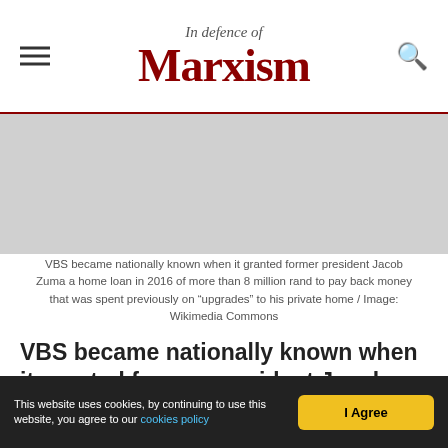In Defence of Marxism
[Figure (photo): Image placeholder for photo of VBS/Jacob Zuma related content]
VBS became nationally known when it granted former president Jacob Zuma a home loan in 2016 of more than 8 million rand to pay back money that was spent previously on “upgrades” to his private home / Image: Wikimedia Commons
VBS became nationally known when it granted former president Jacob Zuma a home loan in 2016 of more than 8 million rand to pay back money that was spent previously on “upgrades” to his private
This website uses cookies, by continuing to use this website, you agree to our cookies policy